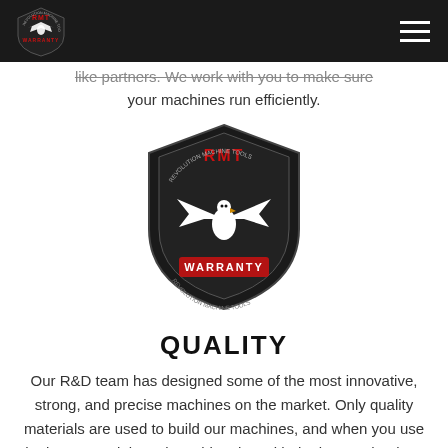RMT Revolution Machine Tools
like partners. We work with you to make sure your machines run efficiently.
[Figure (logo): RMT Revolution Machine Tools shield-shaped warranty badge logo in black, red and white]
QUALITY
Our R&D team has designed some of the most innovative, strong, and precise machines on the market. Only quality materials are used to build our machines, and when you use the best materials and combine that with the best technology, you get the best machines.
Filed Under: Machine Tools, Fab Shop Safety, Fab Shop Tips